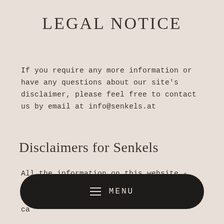LEGAL NOTICE
If you require any more information or have any questions about our site's disclaimer, please feel free to contact us by email at info@senkels.at
Disclaimers for Senkels
All the information on this website - senkels.at - is published in good faith and for general information purpose only. senkels.at does not make any warranties about the completeness, reliability and accuracy of this information. Any action you take upon the information you find on this
[Figure (other): Dark rounded pill-shaped menu button with hamburger icon and MENU text label]